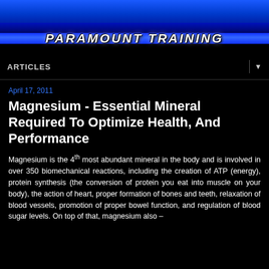PARAMOUNT TRAINING
ARTICLES
April 17, 2011
Magnesium - Essential Mineral Required To Optimize Health, And Performance
Magnesium is the 4th most abundant mineral in the body and is involved in over 350 biomechanical reactions, including the creation of ATP (energy), protein synthesis (the conversion of protein you eat into muscle on your body), the action of heart, proper formation of bones and teeth, relaxation of blood vessels, promotion of proper bowel function, and regulation of blood sugar levels. On top of that, magnesium also –